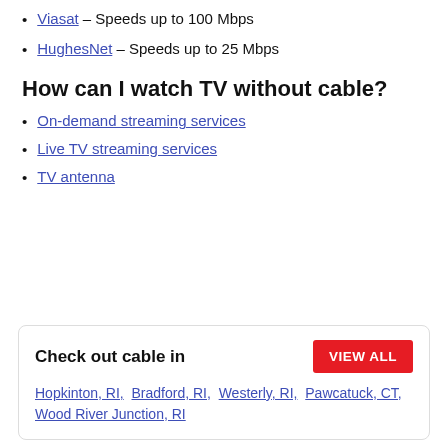Viasat – Speeds up to 100 Mbps
HughesNet – Speeds up to 25 Mbps
How can I watch TV without cable?
On-demand streaming services
Live TV streaming services
TV antenna
Check out cable in  VIEW ALL  Hopkinton, RI,  Bradford, RI,  Westerly, RI,  Pawcatuck, CT,  Wood River Junction, RI